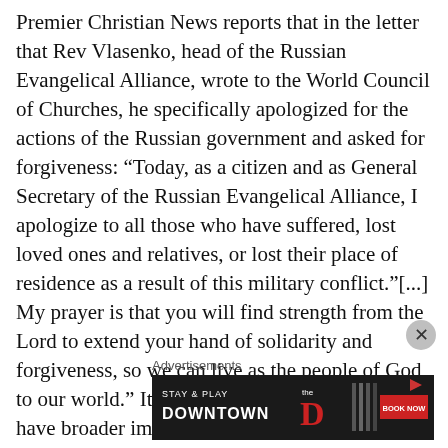Premier Christian News reports that in the letter that Rev Vlasenko, head of the Russian Evangelical Alliance, wrote to the World Council of Churches, he specifically apologized for the actions of the Russian government and asked for forgiveness: “Today, as a citizen and as General Secretary of the Russian Evangelical Alliance, I apologize to all those who have suffered, lost loved ones and relatives, or lost their place of residence as a result of this military conflict.”[...] My prayer is that you will find strength from the Lord to extend your hand of solidarity and forgiveness, so we can live as the people of God to our world.” It’s an interesting request that may have broader implications when it comes to spiritual warfare. The role of forgiveness in spiritual warfare In the Book of Daniel, we see definite indicators of spiritual warfare in Persia. Israel had been taken into captivity by Babylon an
Advertisements
[Figure (other): Advertisement banner for The D casino in Las Vegas: dark background with text 'STAY & PLAY DOWNTOWN' on the left, The D logo in red in the center, and a red 'BOOK NOW' button on the right. A play button icon appears in the top right corner of the banner.]